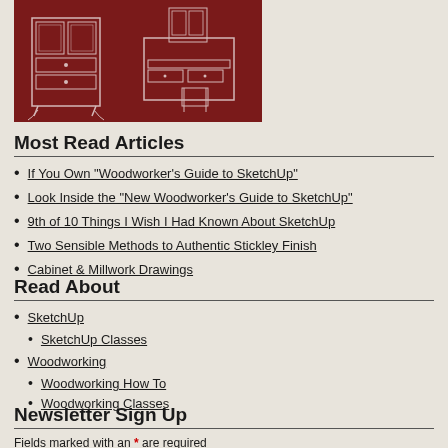[Figure (illustration): Dark red/maroon background with white line drawings of furniture pieces: a chest of drawers with glass cabinet doors, and a vanity desk with chair and small cabinet]
Most Read Articles
If You Own "Woodworker's Guide to SketchUp"
Look Inside the "New Woodworker's Guide to SketchUp"
9th of 10 Things I Wish I Had Known About SketchUp
Two Sensible Methods to Authentic Stickley Finish
Cabinet & Millwork Drawings
Read About
SketchUp
SketchUp Classes
Woodworking
Woodworking How To
Woodworking Classes
Newsletter Sign Up
Fields marked with an * are required